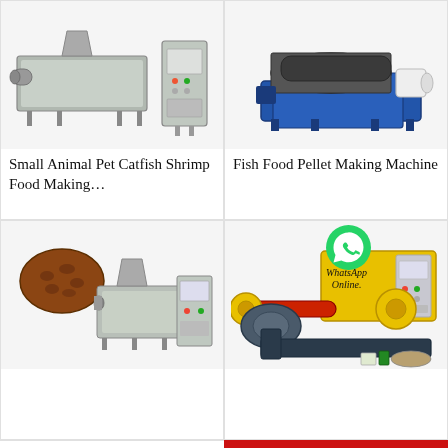[Figure (photo): Small industrial food extrusion machine in silver/grey color with control panel on right]
Small Animal Pet Catfish Shrimp Food Making…
[Figure (photo): Fish food pellet making machine, blue and silver industrial extruder]
Fish Food Pellet Making Machine
[Figure (photo): Pet food making machine with brown pellets shown, plus control panel; WhatsApp Online icon overlay on right cell]
[Figure (photo): Yellow and red industrial fish food pellet extruder machine with WhatsApp Online label and small pellet/packaging images at bottom]
All Products
Contact Now